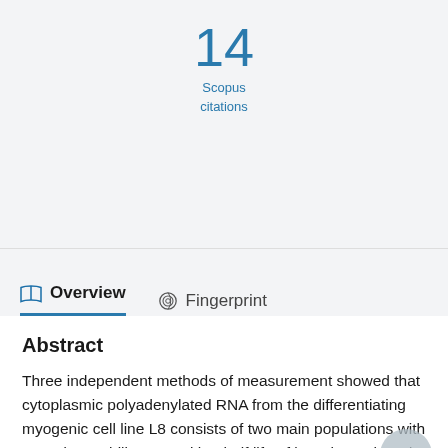14
Scopus
citations
Overview
Fingerprint
Abstract
Three independent methods of measurement showed that cytoplasmic polyadenylated RNA from the differentiating myogenic cell line L8 consists of two main populations with regard to stability; one with a half life of less than 1 h and the